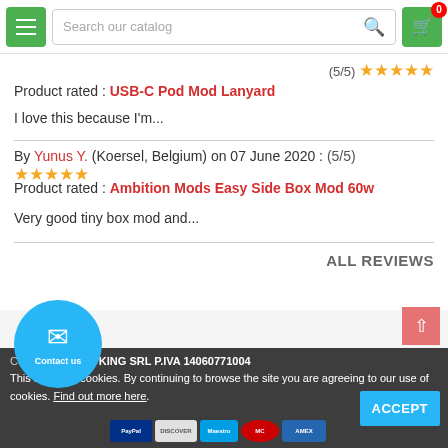[Figure (screenshot): E-commerce website header with green menu button, search bar reading 'Search our catalog', and green cart button with badge showing 0]
(5/5) ★★★★★
Product rated : USB-C Pod Mod Lanyard
I love this because I'm...
By Yunus Y. (Koersel, Belgium) on 07 June 2020 : (5/5) ★★★★★
Product rated : Ambition Mods Easy Side Box Mod 60w
Very good tiny box mod and...
ALL REVIEWS
Copyright © 2019 KING SRL P.IVA 14060771004
This site uses cookies. By continuing to browse the site you are agreeing to our use of cookies. Find out more here.